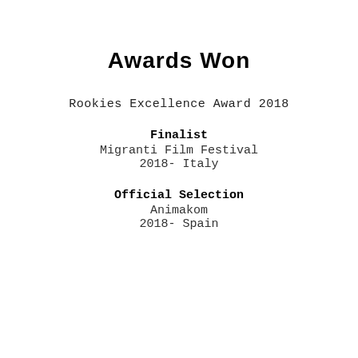Awards Won
Rookies Excellence Award 2018
Finalist
Migranti Film Festival
2018- Italy
Official Selection
Animakom
2018- Spain